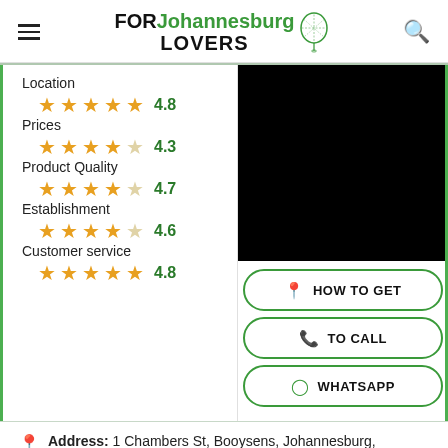FOR Johannesburg LOVERS [logo]
Location 4.8
Prices 4.3
Product Quality 4.7
Establishment 4.6
Customer service 4.8
[Figure (photo): Black/dark image, possibly a map or establishment photo]
HOW TO GET
TO CALL
WHATSAPP
Address: 1 Chambers St, Booysens, Johannesburg, 2001, South Africa